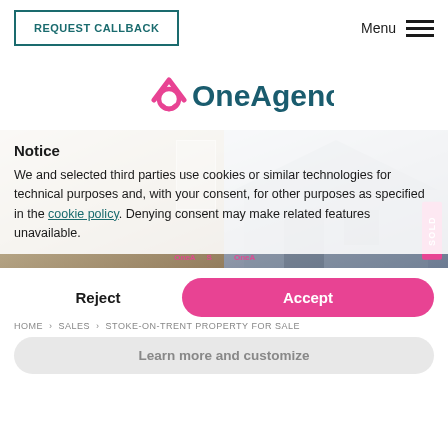REQUEST CALLBACK   Menu
[Figure (logo): OneAgency logo with pink house icon and teal text]
[Figure (photo): Two property photos side by side - interior kitchen on left, exterior brick house on right with SOLD badge]
Notice
We and selected third parties use cookies or similar technologies for technical purposes and, with your consent, for other purposes as specified in the cookie policy. Denying consent may make related features unavailable.
Reject   Accept
HOME > SALES > STOKE-ON-TRENT PROPERTY FOR SALE
Learn more and customize